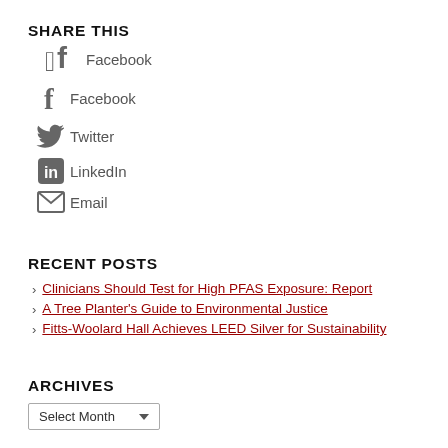SHARE THIS
Facebook
Twitter
LinkedIn
Email
RECENT POSTS
Clinicians Should Test for High PFAS Exposure: Report
A Tree Planter's Guide to Environmental Justice
Fitts-Woolard Hall Achieves LEED Silver for Sustainability
ARCHIVES
Select Month